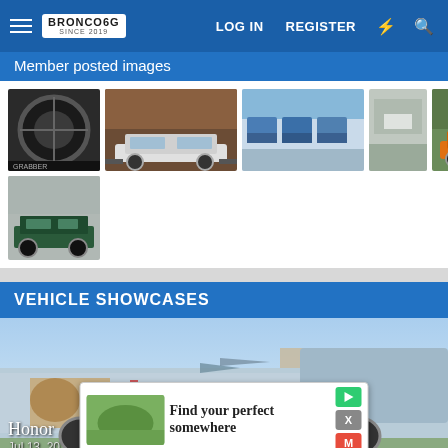Bronco6G.com – LOG IN  REGISTER
Member posted images
[Figure (photo): Gallery of member-posted vehicle images: tire close-up, lifted white Bronco, row of blue Broncos at dealer, blurry dealer image, orange Bronco on trail, dark green classic Bronco]
VEHICLE SHOWCASES
[Figure (photo): Side view of a heavily wrapped pickup truck with patriotic/military theme artwork, including fighter jets and text on the side]
Honor
Jul 13, 20...
[Figure (photo): Advertisement overlay: 'Find your perfect somewhere' with thumbnail image and action icons (play, X, M)]